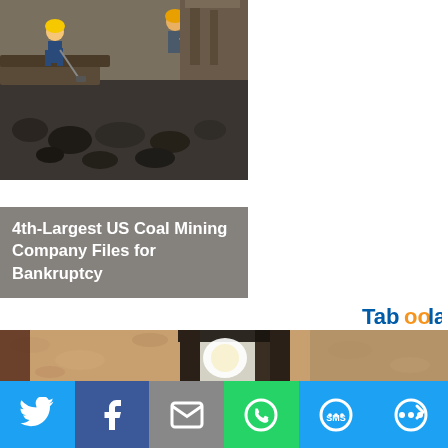[Figure (photo): Coal mining photo showing workers shoveling coal, with overlay text '4th-Largest US Coal Mining Company Files for Bankruptcy']
4th-Largest US Coal Mining Company Files for Bankruptcy
[Figure (logo): Taboola logo in blue and orange]
[Figure (photo): Close-up photo of an outdoor lantern/light fixture mounted on a textured sandy wall]
[Figure (infographic): Social media share bar with Twitter, Facebook, Email, WhatsApp, SMS, and More buttons]